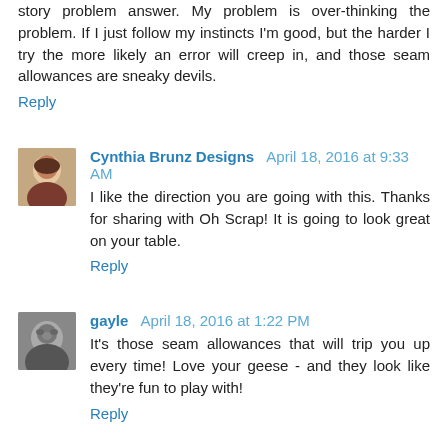story problem answer. My problem is over-thinking the problem. If I just follow my instincts I'm good, but the harder I try the more likely an error will creep in, and those seam allowances are sneaky devils.
Reply
Cynthia Brunz Designs  April 18, 2016 at 9:33 AM
I like the direction you are going with this. Thanks for sharing with Oh Scrap! It is going to look great on your table.
Reply
gayle  April 18, 2016 at 1:22 PM
It's those seam allowances that will trip you up every time! Love your geese - and they look like they're fun to play with!
Reply